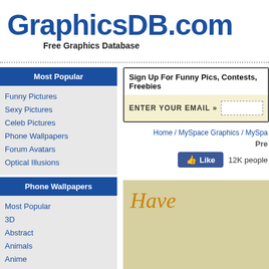GraphicsDB.com
Free Graphics Database
Most Popular
Funny Pictures
Sexy Pictures
Celeb Pictures
Phone Wallpapers
Forum Avatars
Optical Illusions
Phone Wallpapers
Most Popular
3D
Abstract
Animals
Anime
Architecture
Babe
Cars
Cartoons
Colorful
Sign Up For Funny Pics, Contests, Freebies
ENTER YOUR EMAIL »
Home / MySpace Graphics / MySpa
Pre
Like  12K people
[Figure (illustration): Partial view of a greeting card image with cursive orange text reading 'Have' on a beige/tan background]